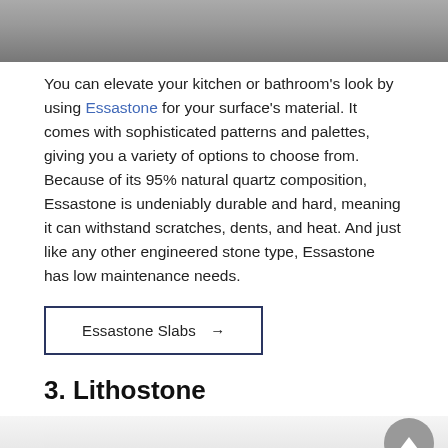[Figure (photo): Top portion of interior room photo, partially cropped, showing a modern living or dining space with dark furniture on a light floor.]
You can elevate your kitchen or bathroom's look by using Essastone for your surface's material. It comes with sophisticated patterns and palettes, giving you a variety of options to choose from. Because of its 95% natural quartz composition, Essastone is undeniably durable and hard, meaning it can withstand scratches, dents, and heat. And just like any other engineered stone type, Essastone has low maintenance needs.
Essastone Slabs →
3. Lithostone
[Figure (photo): Bottom portion of interior room photo showing a bright, minimal bathroom or living area with white walls and ceiling.]